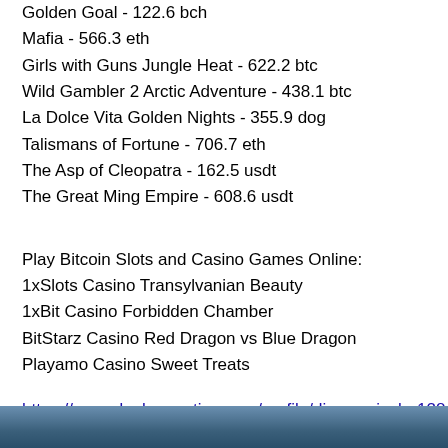Golden Goal - 122.6 bch
Mafia - 566.3 eth
Girls with Guns Jungle Heat - 622.2 btc
Wild Gambler 2 Arctic Adventure - 438.1 btc
La Dolce Vita Golden Nights - 355.9 dog
Talismans of Fortune - 706.7 eth
The Asp of Cleopatra - 162.5 usdt
The Great Ming Empire - 608.6 usdt
Play Bitcoin Slots and Casino Games Online:
1xSlots Casino Transylvanian Beauty
1xBit Casino Forbidden Chamber
BitStarz Casino Red Dragon vs Blue Dragon
Playamo Casino Sweet Treats
https://www.dunkerauction.com/profile/diannawiesler1284653/profile
https://www.erindecuir.com/profile/kiethboersma8946131/profile
https://www.reedspetcare.com/profile/rickymcquilkin17293289/profile
https://www.loveworldmovietheatre.com/profile/wilburncaddel2973977
[Figure (photo): Photo strip at the bottom of the page showing a blurred outdoor scene]